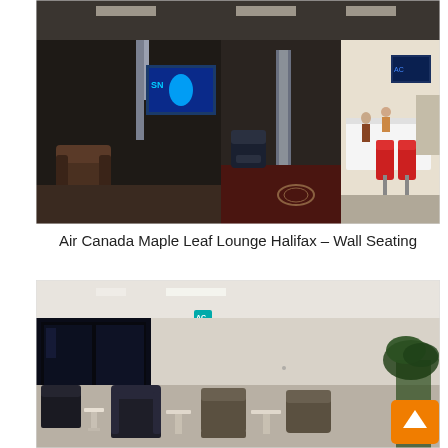[Figure (photo): Interior photo of Air Canada Maple Leaf Lounge Halifax showing wall seating area with brown leather chairs, TV screens, bar seating with red chairs, and lounge furniture on patterned carpet.]
Air Canada Maple Leaf Lounge Halifax – Wall Seating
[Figure (photo): Interior photo of Air Canada Maple Leaf Lounge Halifax showing seating area with dark leather chairs and small tables near large windows at night, with plant in corner and back-to-top button overlay.]